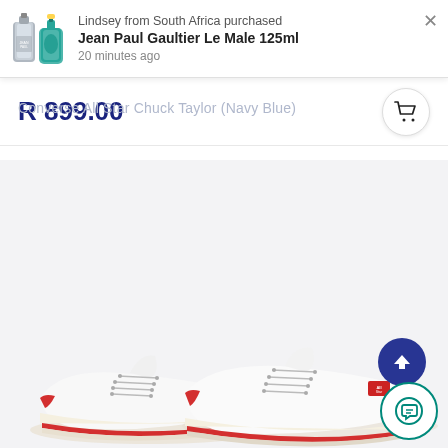[Figure (screenshot): Notification popup showing Jean Paul Gaultier Le Male 125ml purchased by Lindsey from South Africa, with product image of two cologne bottles, 20 minutes ago]
Lindsey from South Africa purchased
Jean Paul Gaultier Le Male 125ml
20 minutes ago
Converse All Star Chuck Taylor (Navy Blue)
R 899.00
[Figure (photo): White Converse All Star Chuck Taylor low-top sneakers on a light grey background]